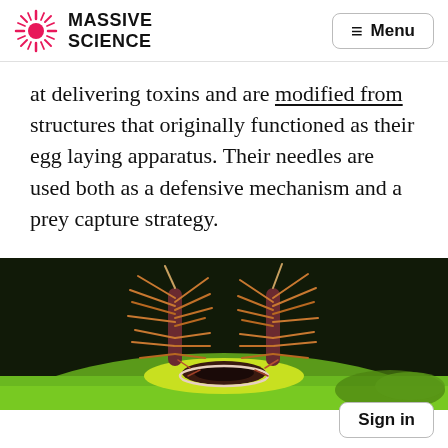MASSIVE SCIENCE | Menu
at delivering toxins and are modified from structures that originally functioned as their egg laying apparatus. Their needles are used both as a defensive mechanism and a prey capture strategy.
[Figure (photo): Close-up macro photo of a spiny caterpillar on a green leaf, showing two prominent spiny protrusions with reddish-orange spines against a dark background. The caterpillar has a bright yellow-green body with a dark saddle marking.]
Sign in